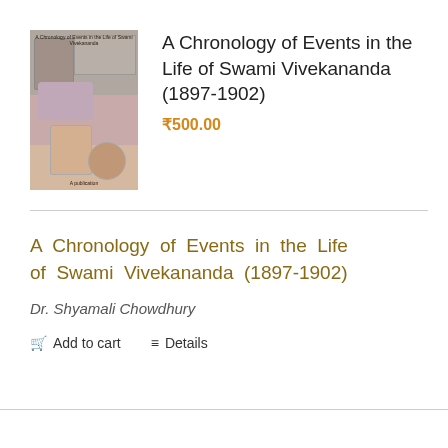[Figure (photo): Book cover of 'A Chronology of Events in the Life of Swami Vivekananda (1897-1902)' showing collage of historical photographs on a pinkish-red background]
A Chronology of Events in the Life of Swami Vivekananda (1897-1902)
₹500.00
A Chronology of Events in the Life of Swami Vivekananda (1897-1902)
Dr. Shyamali Chowdhury
Add to cart   Details